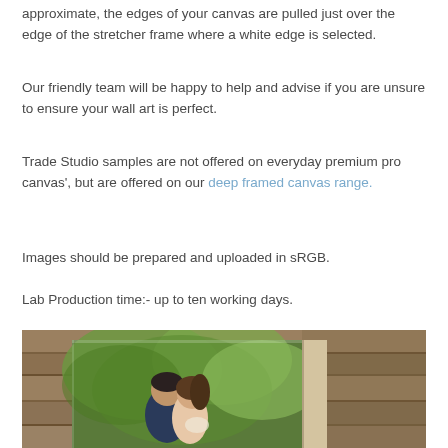approximate, the edges of your canvas are pulled just over the edge of the stretcher frame where a white edge is selected.
Our friendly team will be happy to help and advise if you are unsure to ensure your wall art is perfect.
Trade Studio samples are not offered on everyday premium pro canvas', but are offered on our deep framed canvas range.
Images should be prepared and uploaded in sRGB.
Lab Production time:- up to ten working days.
[Figure (photo): A canvas print showing a couple (man and woman) in a romantic pose outdoors among green foliage, displayed on a stretched canvas frame leaning against a wooden plank wall background.]